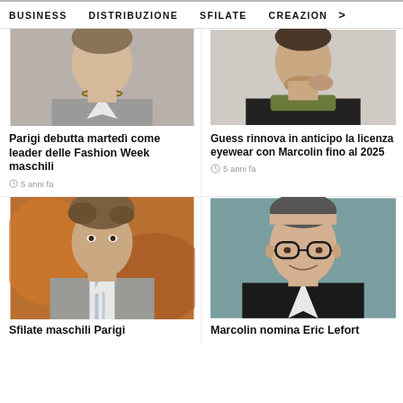BUSINESS   DISTRIBUZIONE   SFILATE   CREAZION  >
[Figure (photo): Male fashion model wearing layered necklace and grey jacket, close-up portrait]
[Figure (photo): Male model wearing dark knit sweater and olive green collar, close-up portrait]
Parigi debutta martedì come leader delle Fashion Week maschili
Guess rinnova in anticipo la licenza eyewear con Marcolin fino al 2025
5 anni fa
5 anni fa
[Figure (photo): Young male fashion model with curly hair wearing grey striped suit, runway photo]
[Figure (photo): Middle-aged man with glasses in dark suit smiling, professional headshot on teal background]
Sfilate maschili Parigi
Marcolin nomina Eric Lefort